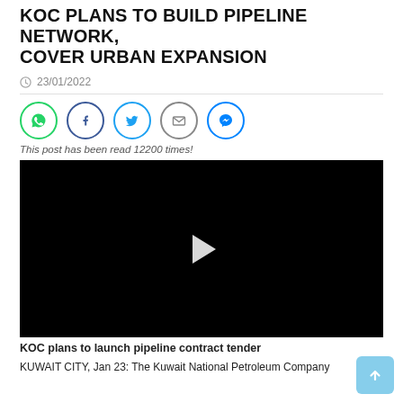KOC PLANS TO BUILD PIPELINE NETWORK, COVER URBAN EXPANSION
23/01/2022
[Figure (infographic): Social share icons: WhatsApp (green circle), Facebook (dark blue circle), Twitter (light blue circle), Email (grey circle), Messenger (blue circle)]
This post has been read 12200 times!
[Figure (screenshot): Black video player with white play button triangle in center]
KOC plans to launch pipeline contract tender
KUWAIT CITY, Jan 23: The Kuwait National Petroleum Company